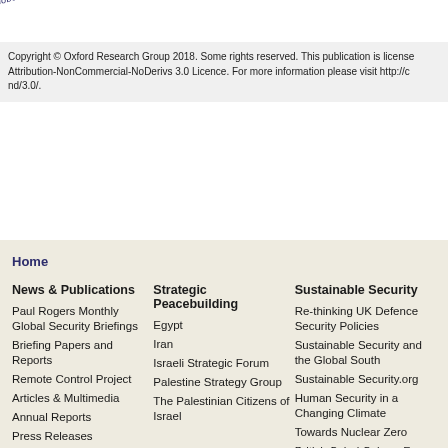[Figure (logo): Partial circular logo/seal with text 'global secur' visible in dark blue, curved arc style]
Copyright © Oxford Research Group 2018. Some rights reserved. This publication is licensed Attribution-NonCommercial-NoDerivs 3.0 Licence. For more information please visit http://c nd/3.0/.
Home
News & Publications
Paul Rogers Monthly Global Security Briefings
Briefing Papers and Reports
Remote Control Project
Articles & Multimedia
Annual Reports
Press Releases
Events
Books
News
Strategic Peacebuilding
Egypt
Iran
Israeli Strategic Forum
Palestine Strategy Group
The Palestinian Citizens of Israel
Sustainable Security
Re-thinking UK Defence Security Policies
Sustainable Security and the Global South
Sustainable Security.org
Human Security in a Changing Climate
Towards Nuclear Zero
British Sahel-Sahara Fo
Remote Control Project